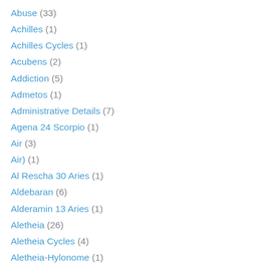Abuse (33)
Achilles (1)
Achilles Cycles (1)
Acubens (2)
Addiction (5)
Admetos (1)
Administrative Details (7)
Agena 24 Scorpio (1)
Air (3)
Air) (1)
Al Rescha 30 Aries (1)
Aldebaran (6)
Alderamin 13 Aries (1)
Aletheia (26)
Aletheia Cycles (4)
Aletheia-Hylonome (1)
Aletheia-Varuna (2)
Aletheia-Veritas (5)
Algol Taurus 27 (15)
Almost-Configuration (2)